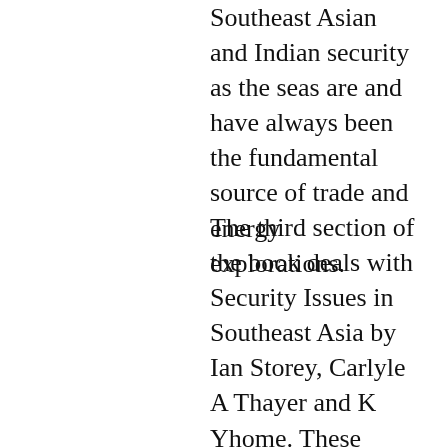Southeast Asian and Indian security as the seas are and have always been the fundamental source of trade and energy explorations.
The third section of the book deals with Security Issues in Southeast Asia by Ian Storey, Carlyle A Thayer and K Yhome. These works revolve around the central issues of concern in Southeast Asian context. The South China Sea Dispute is examined in context of the 2002 Declaration on the Conduct of Parties.  The other chapter in the section is on Myanmar, which is one of the most dynamic and